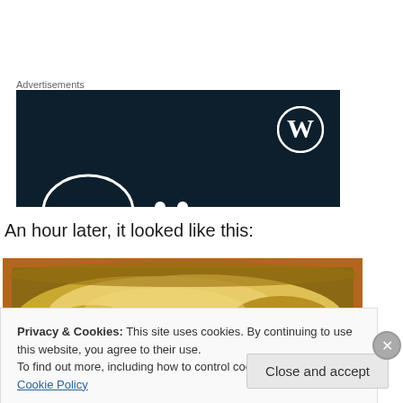Advertisements
[Figure (screenshot): Dark navy blue advertisement banner with WordPress logo (W in circle) in top right corner and partial white arc/circle elements at bottom]
An hour later, it looked like this:
[Figure (photo): Close-up photo of risen bread dough in a round metal baking pan]
Privacy & Cookies: This site uses cookies. By continuing to use this website, you agree to their use.
To find out more, including how to control cookies, see here: Cookie Policy
Close and accept